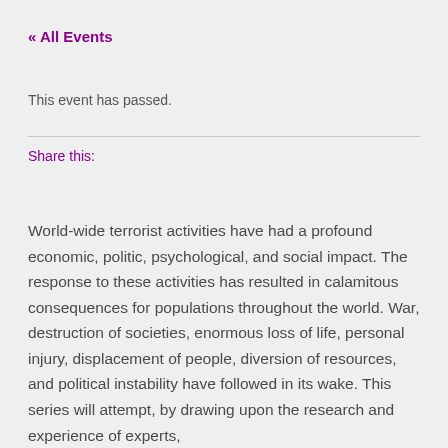« All Events
This event has passed.
Share this:
World-wide terrorist activities have had a profound economic, politic, psychological, and social impact. The response to these activities has resulted in calamitous consequences for populations throughout the world. War, destruction of societies, enormous loss of life, personal injury, displacement of people, diversion of resources, and political instability have followed in its wake. This series will attempt, by drawing upon the research and experience of experts,